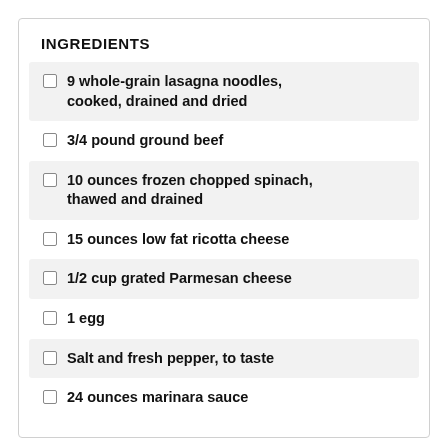INGREDIENTS
9 whole-grain lasagna noodles, cooked, drained and dried
3/4 pound ground beef
10 ounces frozen chopped spinach, thawed and drained
15 ounces low fat ricotta cheese
1/2 cup grated Parmesan cheese
1 egg
Salt and fresh pepper, to taste
24 ounces marinara sauce